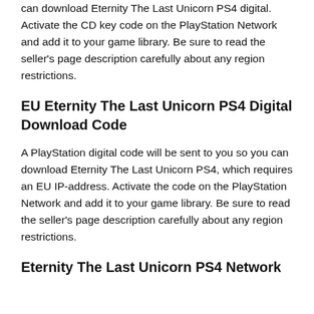can download Eternity The Last Unicorn PS4 digital. Activate the CD key code on the PlayStation Network and add it to your game library. Be sure to read the seller's page description carefully about any region restrictions.
EU Eternity The Last Unicorn PS4 Digital Download Code
A PlayStation digital code will be sent to you so you can download Eternity The Last Unicorn PS4, which requires an EU IP-address. Activate the code on the PlayStation Network and add it to your game library. Be sure to read the seller's page description carefully about any region restrictions.
Eternity The Last Unicorn PS4 Network